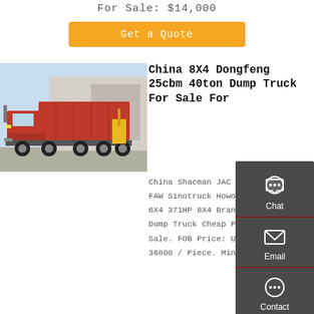For Sale: $14,000
Get a Quote
[Figure (photo): Red Dongfeng 8X4 dump truck parked outside a building]
China 8X4 Dongfeng 25cbm 40ton Dump Truck For Sale For
China Shacman JAC Beiben Foton FAW Sinotruck Howo 4X2 336HP 6X4 371HP 8X4 Brand New or Used Dump Truck Cheap Price for Sale. FOB Price: US $ 9800-36800 / Piece. Min.